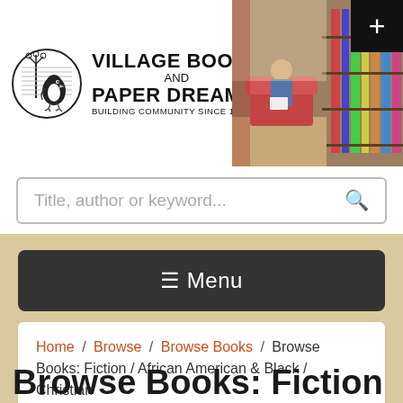[Figure (logo): Village Books and Paper Dreams logo with penguin/bird illustration in oval frame, text reading VILLAGE BOOKS AND PAPER DREAMS BUILDING COMMUNITY SINCE 1980]
[Figure (photo): Interior photo of a bookstore with colorful bookshelves and a person sitting reading, shot from above]
Title, author or keyword...
☰ Menu
Home / Browse / Browse Books / Browse Books: Fiction / African American & Black / Christian
Browse Books: Fiction / African American & Bl...